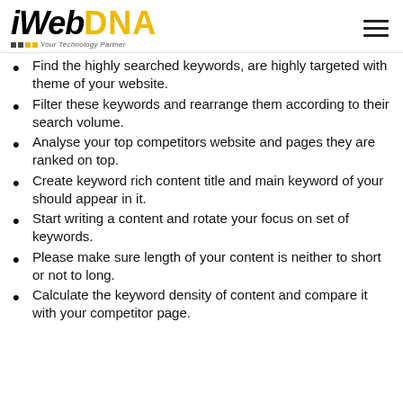iWebDNA — Your Technology Partner
Find the highly searched keywords, are highly targeted with theme of your website.
Filter these keywords and rearrange them according to their search volume.
Analyse your top competitors website and pages they are ranked on top.
Create keyword rich content title and main keyword of your should appear in it.
Start writing a content and rotate your focus on set of keywords.
Please make sure length of your content is neither to short or not to long.
Calculate the keyword density of content and compare it with your competitor page.